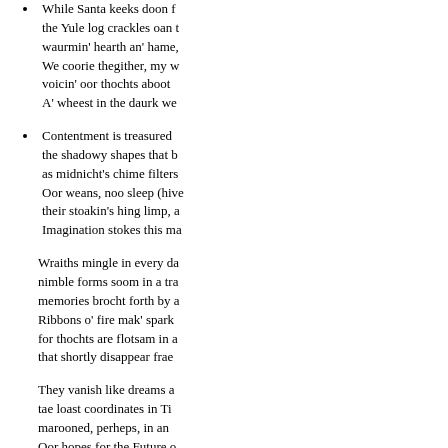While Santa keeks doon frae the Yule log crackles oan the waurmin' hearth an' hame, We coorie thegither, my w... voicin' oor thochts aboot A' wheest in the daurk we...
Contentment is treasured the shadowy shapes that b... as midnicht's chime filters Oor weans, noo sleep (hive... their stoakin's hing limp, a... Imagination stokes this ma...
Wraiths mingle in every da... nimble forms soom in a tra... memories brocht forth by a... Ribbons o' fire mak' spark... for thochts are flotsam in a... that shortly disappear frae...
They vanish like dreams a... tae loast coordinates in Ti... marooned, perheps, in an... Oor hopes for the Future o... An' Present, quite suddenl... up oor lum jist like a puff o...
* * *